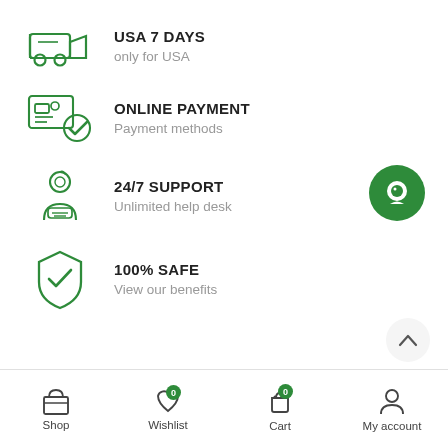USA 7 DAYS — only for USA
ONLINE PAYMENT — Payment methods
24/7 SUPPORT — Unlimited help desk
100% SAFE — View our benefits
Shop | Wishlist 0 | Cart 0 | My account